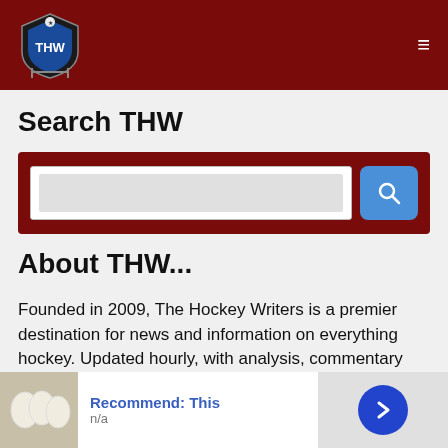THW - The Hockey Writers
Search THW
[Figure (screenshot): Search bar with dark red background, text input field, and blue search button with magnifying glass icon]
About THW...
Founded in 2009, The Hockey Writers is a premier destination for news and information on everything hockey. Updated hourly, with analysis, commentary and features from hundreds writers
[Figure (other): Advertisement banner: Recommend: This, n/a, with arrow button]